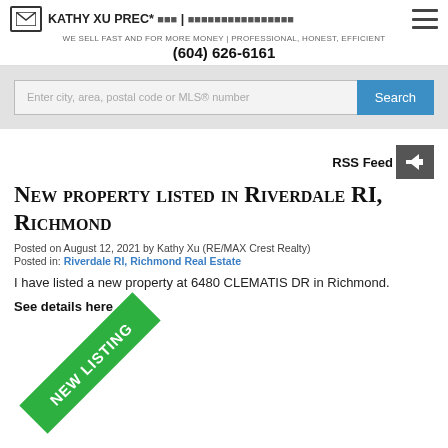KATHY XU PREC* | WE SELL FAST AND FOR MORE MONEY | PROFESSIONAL, HONEST, EFFICIENT
(604) 626-6161
Enter city, area, postal code or MLS® number
RSS Feed
New property listed in Riverdale RI, Richmond
Posted on August 12, 2021 by Kathy Xu (RE/MAX Crest Realty)
Posted in: Riverdale RI, Richmond Real Estate
I have listed a new property at 6480 CLEMATIS DR in Richmond.
See details here